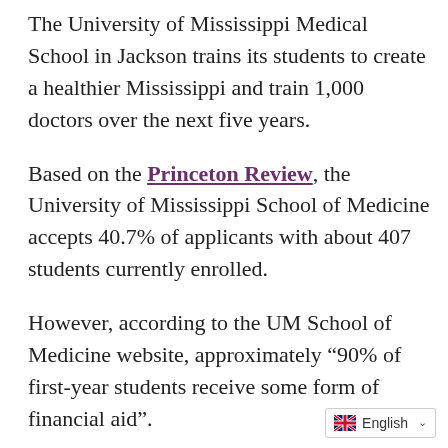The University of Mississippi Medical School in Jackson trains its students to create a healthier Mississippi and train 1,000 doctors over the next five years.
Based on the Princeton Review, the University of Mississippi School of Medicine accepts 40.7% of applicants with about 407 students currently enrolled.
However, according to the UM School of Medicine website, approximately “90% of first-year students receive some form of financial aid”.
In terms of acceptance, the average GPA of the UM entry rate is [continues]